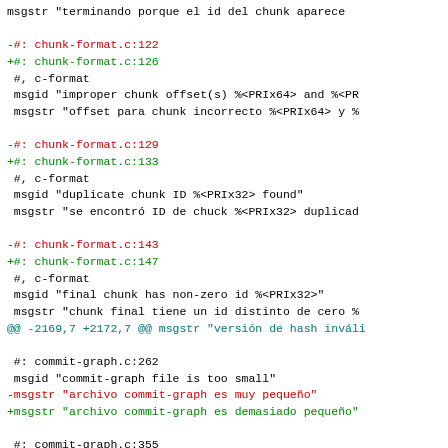diff output showing translation file changes for git Spanish locale